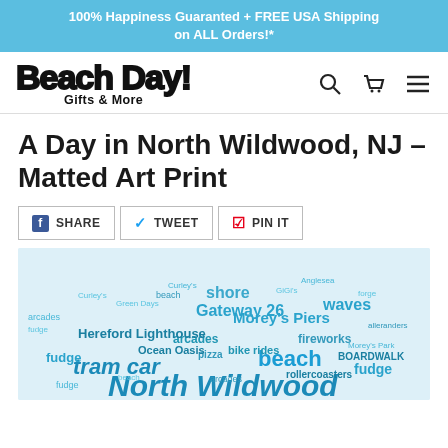100% Happiness Guaranted + FREE USA Shipping on ALL Orders!*
[Figure (logo): Beach Day! Gifts & More logo with stylized bubble lettering]
A Day in North Wildwood, NJ – Matted Art Print
SHARE   TWEET   PIN IT
[Figure (illustration): Word cloud art print featuring North Wildwood NJ themed words including beach, tram car, Morey's Piers, fireworks, boardwalk, Gateway 26, Hereford Lighthouse, Ocean Oasis, bike rides, arcades, rollercoasters, fudge, waves, shore, and more in various shades of blue.]